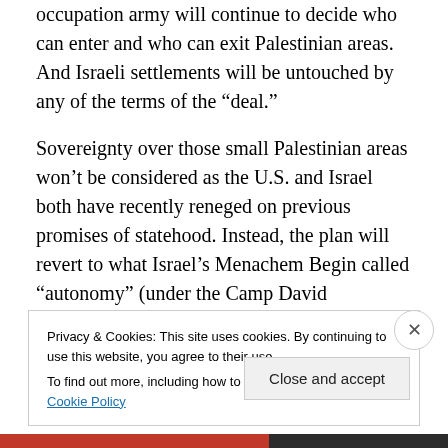occupation army will continue to decide who can enter and who can exit Palestinian areas.  And Israeli settlements will be untouched by any of the terms of the “deal.”
Sovereignty over those small Palestinian areas won’t be considered as the U.S. and Israel both have recently reneged on previous promises of statehood. Instead, the plan will revert to what Israel’s Menachem Begin called “autonomy” (under the Camp David negotiations), according to which the Palestinians will exercise limited municipal management of their areas (trash collection, postal service, sewage, etc).
Privacy & Cookies: This site uses cookies. By continuing to use this website, you agree to their use.
To find out more, including how to control cookies, see here: Cookie Policy
Close and accept